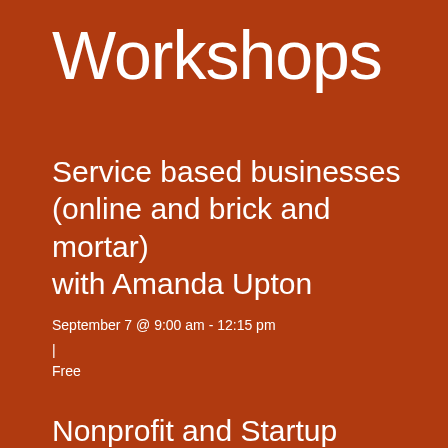Workshops
Service based businesses (online and brick and mortar) with Amanda Upton
September 7 @ 9:00 am - 12:15 pm
|
Free
Nonprofit and Startup Management with Ilene Winters